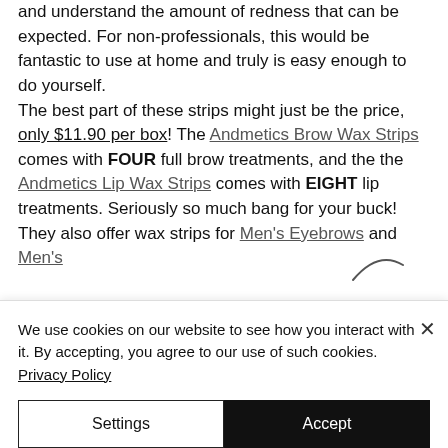and understand the amount of redness that can be expected. For non-professionals, this would be fantastic to use at home and truly is easy enough to do yourself. The best part of these strips might just be the price, only $11.90 per box! The Andmetics Brow Wax Strips comes with FOUR full brow treatments, and the the Andmetics Lip Wax Strips comes with EIGHT lip treatments. Seriously so much bang for your buck! They also offer wax strips for Men's Eyebrows and Men's
We use cookies on our website to see how you interact with it. By accepting, you agree to our use of such cookies. Privacy Policy
Settings
Accept